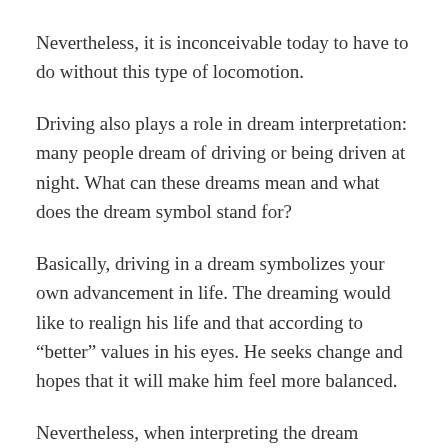Nevertheless, it is inconceivable today to have to do without this type of locomotion.
Driving also plays a role in dream interpretation: many people dream of driving or being driven at night. What can these dreams mean and what does the dream symbol stand for?
Basically, driving in a dream symbolizes your own advancement in life. The dreaming would like to realign his life and that according to “better” values in his eyes. He seeks change and hopes that it will make him feel more balanced.
Nevertheless, when interpreting the dream symbol, it